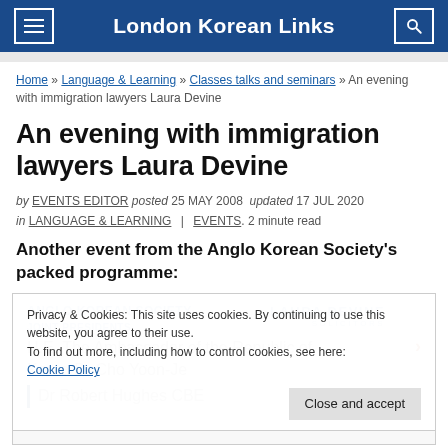London Korean Links
Home » Language & Learning » Classes talks and seminars » An evening with immigration lawyers Laura Devine
An evening with immigration lawyers Laura Devine
by EVENTS EDITOR posted 25 MAY 2008 updated 17 JUL 2020
in LANGUAGE & LEARNING | EVENTS. 2 minute read
Another event from the Anglo Korean Society's packed programme:
Privacy & Cookies: This site uses cookies. By continuing to use this website, you agree to their use. To find out more, including how to control cookies, see here: Cookie Policy
ANGLO KOREAN SOCIETY
JOINT PRESIDENTS
LAURA DEVINE SOLICITORS
H.E. The Ambassador of the Republic of Korea Dr Cho Yoon-Je
Dr Robert Hughes CBE